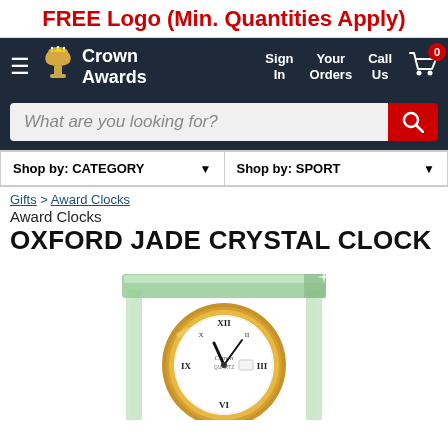FREE Logo (Min. Quantities Apply)
[Figure (logo): Crown Awards navigation bar with logo, Sign In, Your Orders, Call Us, and cart icon with 0 badge]
What are you looking for?
Shop by: CATEGORY  |  Shop by: SPORT
Gifts > Award Clocks
Award Clocks
OXFORD JADE CRYSTAL CLOCK
[Figure (photo): Oxford Jade Crystal Clock - a jade green glass crystal award with a gold-rimmed clock face embedded, showing Roman numerals on a white clock face with Crown branding]